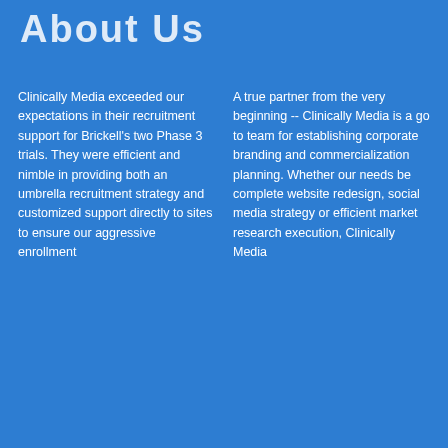About Us
Clinically Media exceeded our expectations in their recruitment support for Brickell's two Phase 3 trials. They were efficient and nimble in providing both an umbrella recruitment strategy and customized support directly to sites to ensure our aggressive enrollment
A true partner from the very beginning -- Clinically Media is a go to team for establishing corporate branding and commercialization planning. Whether our needs be complete website redesign, social media strategy or efficient market research execution, Clinically Media